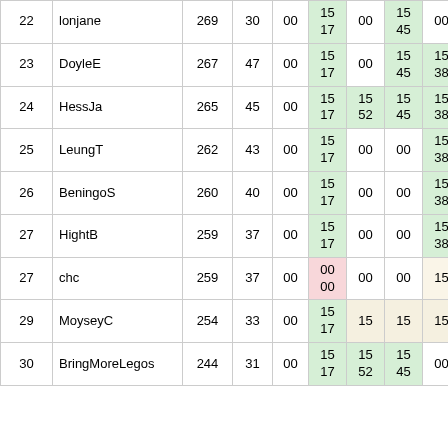| # | Name | Pts | Col3 | Col4 | Col5 | Col6 | Col7 | Col8 | Col9 |
| --- | --- | --- | --- | --- | --- | --- | --- | --- | --- |
| 22 | lonjane | 269 | 30 | 00 | 15
17 | 00 | 15
45 | 00 | 1
3 |
| 23 | DoyleE | 267 | 47 | 00 | 15
17 | 00 | 15
45 | 15
38 | 0 |
| 24 | HessJa | 265 | 45 | 00 | 15
17 | 15
52 | 15
45 | 15
38 | 1
3 |
| 25 | LeungT | 262 | 43 | 00 | 15
17 | 00 | 00 | 15
38 | 1
3 |
| 26 | BeningoS | 260 | 40 | 00 | 15
17 | 00 | 00 | 15
38 | 1
3 |
| 27 | HightB | 259 | 37 | 00 | 15
17 | 00 | 00 | 15
38 | 1 |
| 27 | chc | 259 | 37 | 00 | 00
00 | 00 | 00 | 15 | 1
3 |
| 29 | MoyseyC | 254 | 33 | 00 | 15
17 | 15 | 15 | 15 | 0
0 |
| 30 | BringMoreLegos | 244 | 31 | 00 | 15
17 | 15
52 | 15
45 | 00 | 0 |